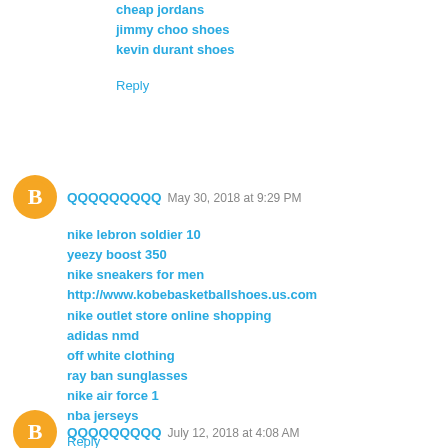cheap jordans
jimmy choo shoes
kevin durant shoes
Reply
QQQQQQQQQ  May 30, 2018 at 9:29 PM
nike lebron soldier 10
yeezy boost 350
nike sneakers for men
http://www.kobebasketballshoes.us.com
nike outlet store online shopping
adidas nmd
off white clothing
ray ban sunglasses
nike air force 1
nba jerseys
Reply
QQQQQQQQQ  July 12, 2018 at 4:08 AM